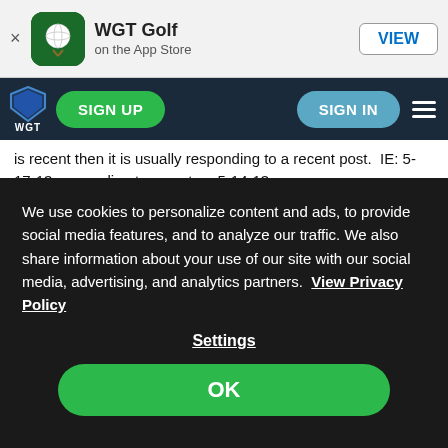[Figure (screenshot): App Store banner for WGT Golf with icon, title, subtitle 'on the App Store', and VIEW button]
[Figure (screenshot): WGT website navigation bar with logo, SIGN UP button (green), SIGN IN button (blue), and hamburger menu]
is recent then it is usually responding to a recent post.  IE: 5-17-13 responding to a post on 5-14-13.

BTW:  I am curious, from going back over the entire post, your posts have all been recent so why the concern over my original post unless it was just to try to put me down for not posting the way that you think I should.  I would be willing to bet that you knew right away which post I was responding to because if you did even bother to look then you would have looked backwards from my post and found it about 4 - 5 posts above mine.  Therefore since after reading my post you did not
We use cookies to personalize content and ads, to provide social media features, and to analyze our traffic. We also share information about your use of our site with our social media, advertising, and analytics partners.  View Privacy Policy
Settings
OK